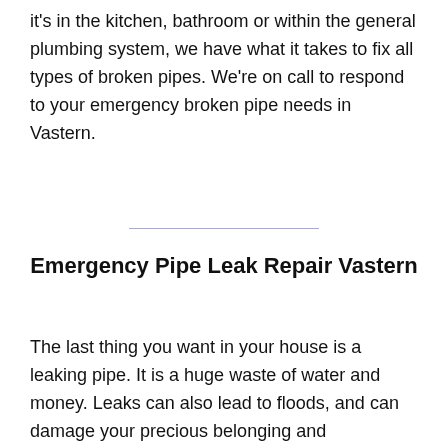it's in the kitchen, bathroom or within the general plumbing system, we have what it takes to fix all types of broken pipes. We're on call to respond to your emergency broken pipe needs in Vastern.
Emergency Pipe Leak Repair Vastern
The last thing you want in your house is a leaking pipe. It is a huge waste of water and money. Leaks can also lead to floods, and can damage your precious belonging and